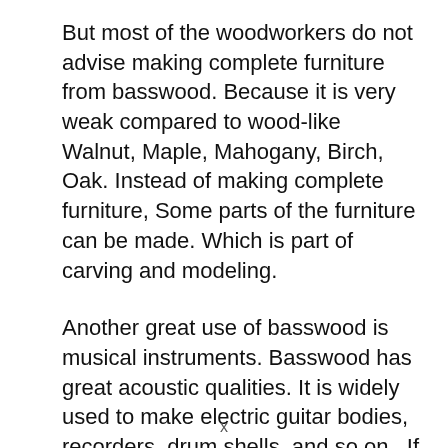But most of the woodworkers do not advise making complete furniture from basswood. Because it is very weak compared to wood-like Walnut, Maple, Mahogany, Birch, Oak. Instead of making complete furniture, Some parts of the furniture can be made. Which is part of carving and modeling.
Another great use of basswood is musical instruments. Basswood has great acoustic qualities. It is widely used to make electric guitar bodies, recorders, drum shells, and so on. If we compare it with mahogany. Mahogany tonewood is a relatively heavy choice. Whereas basswood is known for [text continues below visible area]
x